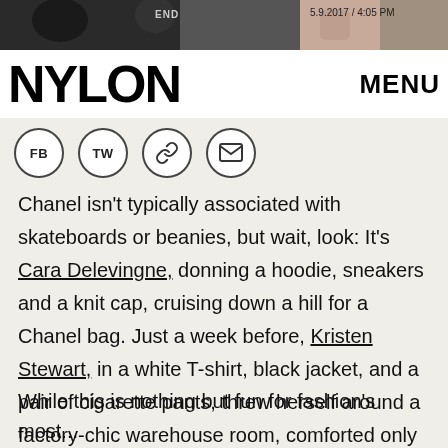[Figure (screenshot): Top banner image showing partial photos of people in dark clothing and tattoos, with a date stamp '5.9.2017 / 4:05 PM' in the top right]
NYLON   MENU
[Figure (infographic): Four circular social sharing icons: FB, TW, chain-link, envelope]
Chanel isn't typically associated with skateboards or beanies, but wait, look: It's Cara Delevingne, donning a hoodie, sneakers and a knit cap, cruising down a hill for a Chanel bag. Just a week before, Kristen Stewart, in a white T-shirt, black jacket, and a pair of cigarette pants, threw herself around a factory-chic warehouse room, comforted only by her... Chanel bag.
While this is nothing but fun for fashion's most...